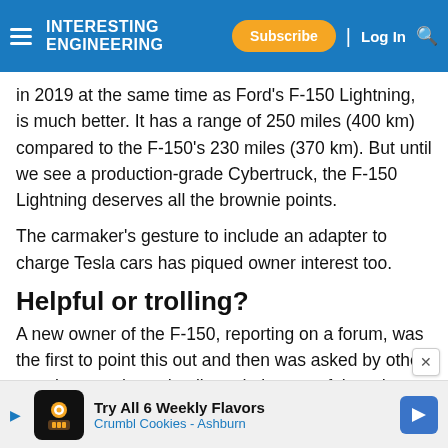Interesting Engineering — Subscribe | Log In
in 2019 at the same time as Ford's F-150 Lightning, is much better. It has a range of 250 miles (400 km) compared to the F-150's 230 miles (370 km). But until we see a production-grade Cybertruck, the F-150 Lightning deserves all the brownie points.
The carmaker's gesture to include an adapter to charge Tesla cars has piqued owner interest too.
Helpful or trolling?
A new owner of the F-150, reporting on a forum, was the first to point this out and then was asked by other members to share details and pictures of the adapter. The pictures that were then shared show a J1772
Try All 6 Weekly Flavors Crumbl Cookies - Ashburn